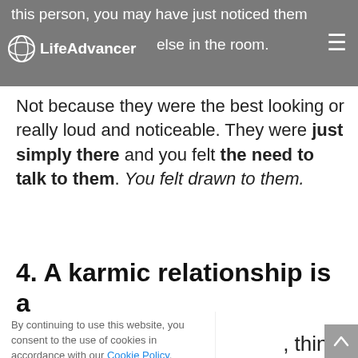this person, you may have just noticed them more than anyone else in the room. LifeAdvancer
Not because they were the best looking or really loud and noticeable. They were just simply there and you felt the need to talk to them. You felt drawn to them.
4. A karmic relationship is a
By continuing to use this website, you consent to the use of cookies in accordance with our Cookie Policy.
, things eems as ne day lding